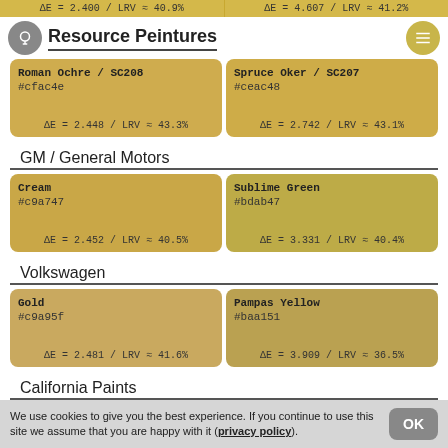ΔE = 2.400 / LRV ≈ 40.9%   |   ΔE = 4.607 / LRV ≈ 41.2%
Resource Peintures
| Color 1 | Color 2 |
| --- | --- |
| Roman Ochre / SC208
#cfac4e
ΔE = 2.448 / LRV ≈ 43.3% | Spruce Oker / SC207
#ceac48
ΔE = 2.742 / LRV ≈ 43.1% |
GM / General Motors
| Color 1 | Color 2 |
| --- | --- |
| Cream
#c9a747
ΔE = 2.452 / LRV ≈ 40.5% | Sublime Green
#bdab47
ΔE = 3.331 / LRV ≈ 40.4% |
Volkswagen
| Color 1 | Color 2 |
| --- | --- |
| Gold
#c9a95f
ΔE = 2.481 / LRV ≈ 41.6% | Pampas Yellow
#baa151
ΔE = 3.909 / LRV ≈ 36.5% |
California Paints
We use cookies to give you the best experience. If you continue to use this site we assume that you are happy with it (privacy policy).